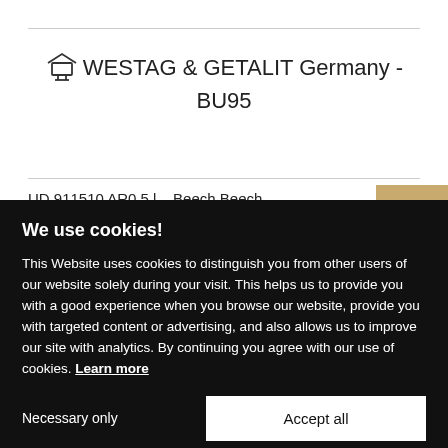WESTAG & GETALIT Germany - BU95
UD 911510 AR0 5 l... Beech Beech
We use cookies!
This Website uses cookies to distinguish you from other users of our website solely during your visit. This helps us to provide you with a good experience when you browse our website, provide you with targeted content or advertising, and also allows us to improve our site with analytics. By continuing you agree with our use of cookies. Learn more
Necessary only
Accept all